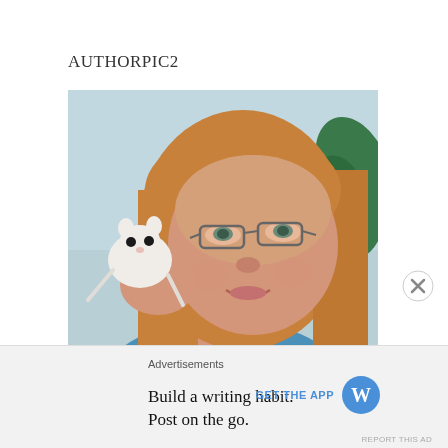AUTHORPIC2
[Figure (photo): A middle-aged woman with long reddish-blonde hair and glasses, smiling and holding a small white animal (possibly a sugar glider or small white cat) up to her cheek. A green plant is visible in the background.]
Advertisements
Build a writing habit.
Post on the go.
GET THE APP